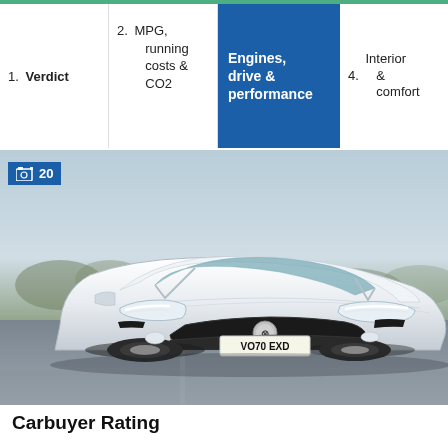| 1. Verdict | 2. MPG, running costs & CO2 | Engines, drive & performance | 4. Interior & comfort |
| --- | --- | --- | --- |
| 1. Verdict | 2. MPG, running costs & CO2 | Engines, drive & performance | 4. Interior & comfort |
[Figure (photo): White Vauxhall Insignia GSi (VO70 EXD) driving on a track, front three-quarter view, with a photo gallery badge showing 20 images]
Carbuyer Rating